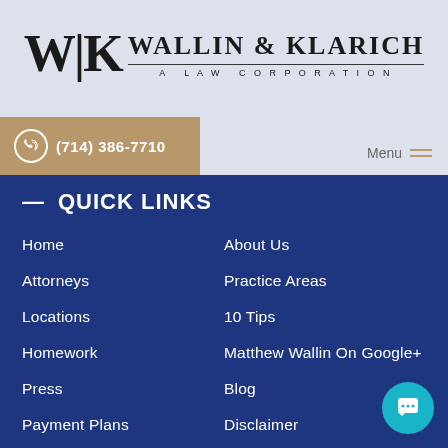[Figure (logo): Wallin & Klarich law firm logo with W|K monogram and firm name 'WALLIN & KLARICH A LAW CORPORATION']
(714) 386-7710
QUICK LINKS
Home
About Us
Attorneys
Practice Areas
Locations
10 Tips
Homework
Matthew Wallin On Google+
Press
Blog
Payment Plans
Disclaimer
Privacy Policy
Contact Us